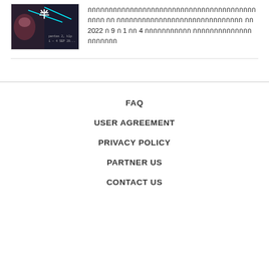[Figure (photo): Dark themed event poster thumbnail showing a person with text 'pentas 2, klp' and '1 — 4 SEP 20...']
กกกกกกกกกกกกกกกกกกกกกกกกกกกกกกกกกกกกกกกกกกกก กก กกกกกกกกกกกกกกกกกกกกกกกกกกกกกก กก 2022 ก 9 ก 1 กก 4 กกกกกกกกกกก กกกกกกกกกกกกกกกกกกกกก
FAQ
USER AGREEMENT
PRIVACY POLICY
PARTNER US
CONTACT US